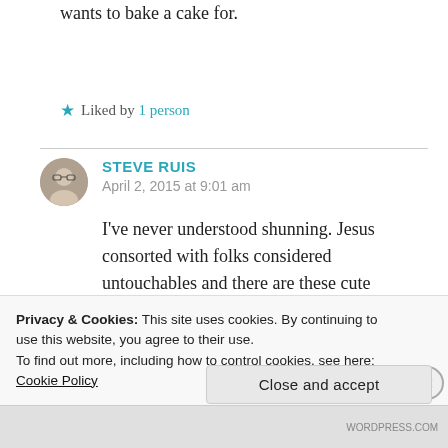wants to bake a cake for.
★ Liked by 1 person
STEVE RUIS
April 2, 2015 at 9:01 am
I've never understood shunning. Jesus consorted with folks considered untouchables and there are these cute sayings like “hate the
Privacy & Cookies: This site uses cookies. By continuing to use this website, you agree to their use.
To find out more, including how to control cookies, see here: Cookie Policy
Close and accept